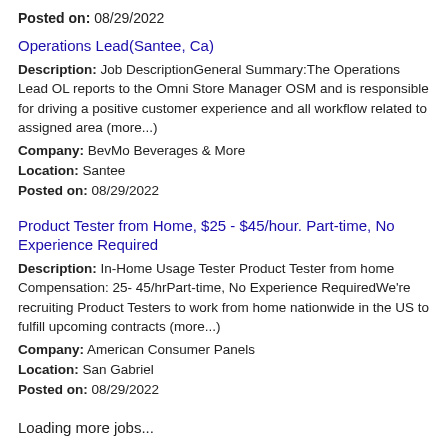Posted on: 08/29/2022
Operations Lead(Santee, Ca)
Description: Job DescriptionGeneral Summary:The Operations Lead OL reports to the Omni Store Manager OSM and is responsible for driving a positive customer experience and all workflow related to assigned area (more...)
Company: BevMo Beverages & More
Location: Santee
Posted on: 08/29/2022
Product Tester from Home, $25 - $45/hour. Part-time, No Experience Required
Description: In-Home Usage Tester Product Tester from home Compensation: 25- 45/hrPart-time, No Experience RequiredWe're recruiting Product Testers to work from home nationwide in the US to fulfill upcoming contracts (more...)
Company: American Consumer Panels
Location: San Gabriel
Posted on: 08/29/2022
Loading more jobs...